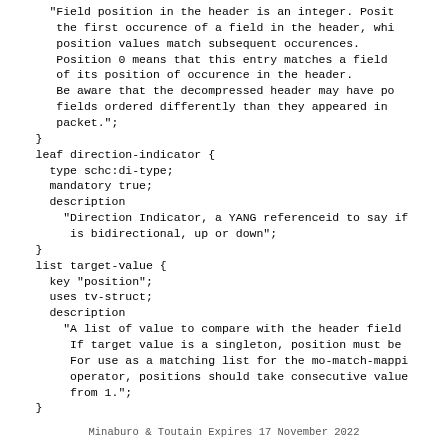"Field position in the header is an integer. Position the first occurence of a field in the header, which position values match subsequent occurences. Position 0 means that this entry matches a field of its position of occurence in the header. Be aware that the decompressed header may have po fields ordered differently than they appeared in packet.";
    }
    leaf direction-indicator {
      type schc:di-type;
      mandatory true;
      description
        "Direction Indicator, a YANG referenceid to say if is bidirectional, up or down";
    }
    list target-value {
      key "position";
      uses tv-struct;
      description
        "A list of value to compare with the header field If target value is a singleton, position must be For use as a matching list for the mo-match-mappi operator, positions should take consecutive value from 1.";
    }
Minaburo & Toutain        Expires 17 November 2022